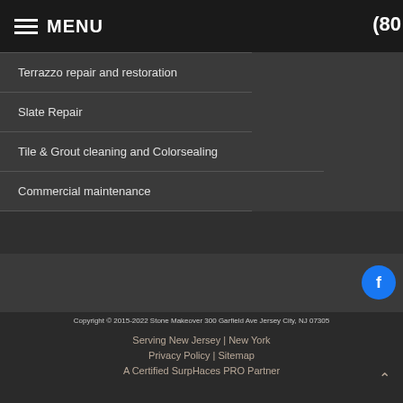MENU
Terrazzo repair and restoration
Slate Repair
Tile & Grout cleaning and Colorsealing
Commercial maintenance
Copyright © 2015-2022 Stone Makeover 300 Garfield Ave Jersey City, NJ 07305
Serving New Jersey | New York
Privacy Policy | Sitemap
A Certified SurpHaces PRO Partner